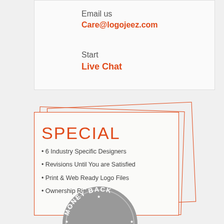Email us
Care@logojeez.com
Start
Live Chat
SPECIAL
6 Industry Specific Designers
Revisions Until You are Satisfied
Print & Web Ready Logo Files
Ownership Rights
[Figure (illustration): Money back guarantee stamp/badge showing '100%' and 'MONEY BACK' text in a circular grey badge design]